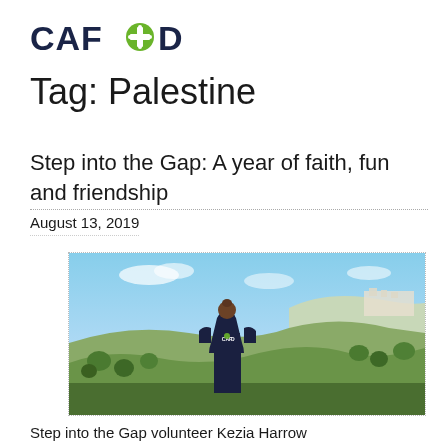[Figure (logo): CAFOD logo — bold dark blue sans-serif text 'CAF+D' where the plus sign is a green cross icon]
Tag: Palestine
Step into the Gap: A year of faith, fun and friendship
August 13, 2019
[Figure (photo): A person seen from behind wearing a dark navy CAFOD hoodie, standing and looking out over a hilly Palestinian landscape under a blue sky with scattered clouds.]
Step into the Gap volunteer Kezia Harrow